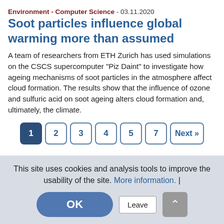Environment - Computer Science - 03.11.2020
Soot particles influence global warming more than assumed
A team of researchers from ETH Zurich has used simulations on the CSCS supercomputer "Piz Daint" to investigate how ageing mechanisms of soot particles in the atmosphere affect cloud formation. The results show that the influence of ozone and sulfuric acid on soot ageing alters cloud formation and, ultimately, the climate.
Pagination: 1 2 3 4 5 7 Next »
This site uses cookies and analysis tools to improve the usability of the site. More information. | OK  Leave